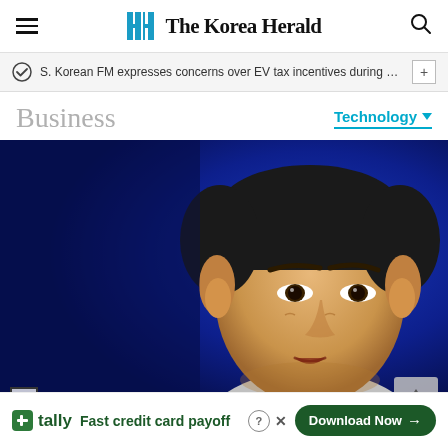The Korea Herald
S. Korean FM expresses concerns over EV tax incentives during c…
Business
Technology
[Figure (photo): Close-up portrait of a man (South Korean official) speaking, against a blue background]
Fast credit card payoff
Download Now →